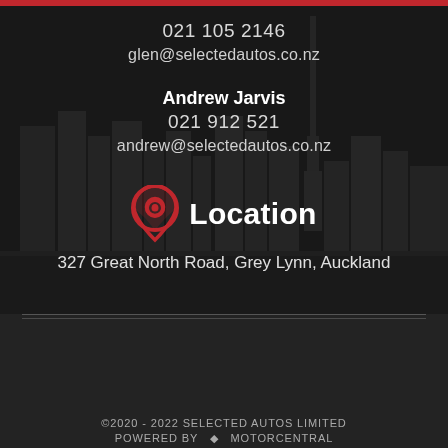021 105 2146
glen@selectedautos.co.nz
Andrew Jarvis
021 912 521
andrew@selectedautos.co.nz
[Figure (illustration): Location pin icon in red with circle/dot design]
Location
327 Great North Road, Grey Lynn, Auckland
©2020 - 2022 SELECTED AUTOS LIMITED
POWERED BY  ⬦  MOTORCENTRAL